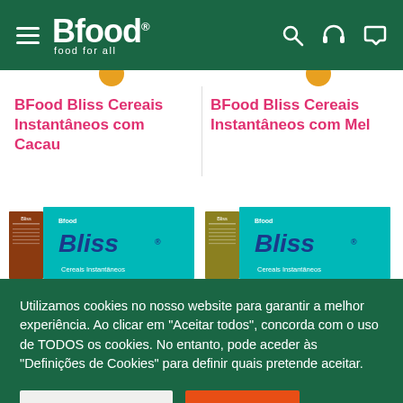Bfood - food for all
BFood Bliss Cereais Instantâneos com Cacau
BFood Bliss Cereais Instantâneos com Mel
[Figure (photo): Two BFood Bliss cereal boxes - left with brown/chocolate accent, right with gold/honey accent, both teal colored with 'Bliss Cereais Instantâneos' branding]
Utilizamos cookies no nosso website para garantir a melhor experiência. Ao clicar em "Aceitar todos", concorda com o uso de TODOS os cookies. No entanto, pode aceder às "Definições de Cookies" para definir quais pretende aceitar.
Definições de Cookies
Aceitar todos